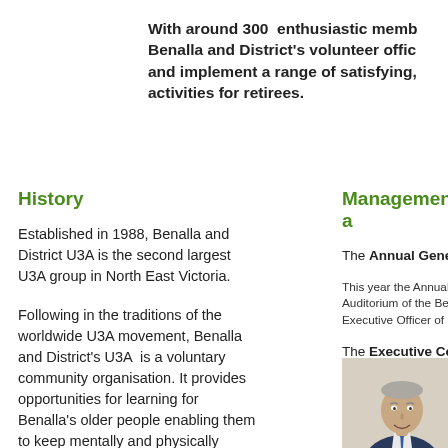With around 300 enthusiastic members, Benalla and District's volunteer officers plan and implement a range of satisfying, activities for retirees.
History
Established in 1988, Benalla and District U3A is the second largest U3A group in North East Victoria.
Following in the traditions of the worldwide U3A movement, Benalla and District's U3A is a voluntary community organisation. It provides opportunities for learning for Benalla's older people enabling them to keep mentally and physically
Management a
The Annual Gene
This year the Annual G Auditorium of the Bena Executive Officer of Be
The Executive Co decisions and taki held on the secon
[Figure (photo): Portrait photo of a smiling elderly man]